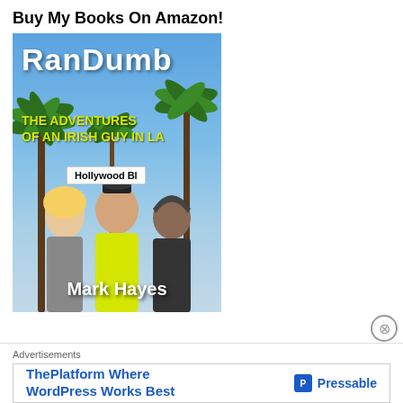Buy My Books On Amazon!
[Figure (photo): Book cover of 'RanDumb: The Adventures of an Irish Guy in LA' by Mark Hayes. Features three people posing against a Hollywood Boulevard street sign with palm trees and blue sky in the background. The title 'RanDumb' is in large white bold text, subtitle 'The Adventures of an Irish Guy in LA' in yellow, and 'Mark Hayes' at the bottom in white.]
Advertisements
ThePlatform Where WordPress Works Best  P Pressable